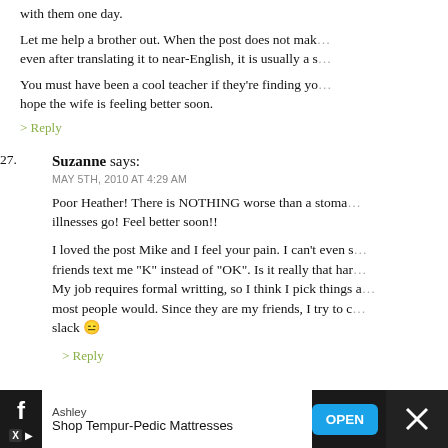with them one day.
Let me help a brother out. When the post does not make sense even after translating it to near-English, it is usually a s…
You must have been a cool teacher if they're finding you… hope the wife is feeling better soon.
> Reply
27. Suzanne says: MAY 5TH, 2010 AT 4:29 AM
Poor Heather! There is NOTHING worse than a stomach illnesses go! Feel better soon!!
I loved the post Mike and I feel your pain. I can't even st… friends text me "K" instead of "OK". Is it really that hard… My job requires formal writting, so I think I pick things a… most people would. Since they are my friends, I try to cu… slack 😐
> Reply
[Figure (other): Advertisement banner at the bottom: Ashley Shop Tempur-Pedic Mattresses with OPEN button]